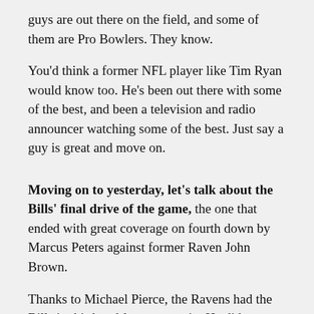guys are out there on the field, and some of them are Pro Bowlers. They know.
You'd think a former NFL player like Tim Ryan would know too. He's been out there with some of the best, and been a television and radio announcer watching some of the best. Just say a guy is great and move on.
Moving on to yesterday, let's talk about the Bills' final drive of the game, the one that ended with great coverage on fourth down by Marcus Peters against former Raven John Brown.
Thanks to Michael Pierce, the Ravens had the Bills in third-and-long yet again. He did absolutely nothing wrong, and the Bills did absolutely nothing right. Yet there Buffalo was, with a first down, as if Josh Allen had actually done something.